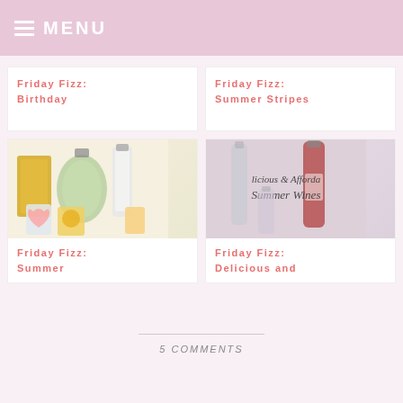MENU
Friday Fizz: Birthday
Friday Fizz: Summer Stripes
[Figure (photo): Collection of perfume bottles including yellow, green dome-shaped, white tall, and small colorful bottles]
Friday Fizz: Summer
[Figure (photo): Wine bottles with cursive text overlay reading 'licious & Afforda Summer Wines']
Friday Fizz: Delicious and
5 COMMENTS
« LETTING GO OF INSTAGRAM WOES